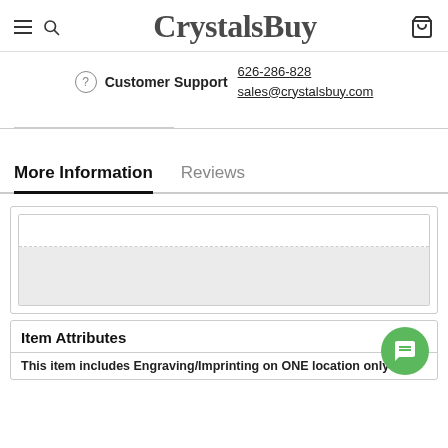CrystalsBuy
Customer Support 626-286-828 sales@crystalsbuy.com
More Information | Reviews
Item Attributes
This item includes Engraving/Imprinting on ONE location only